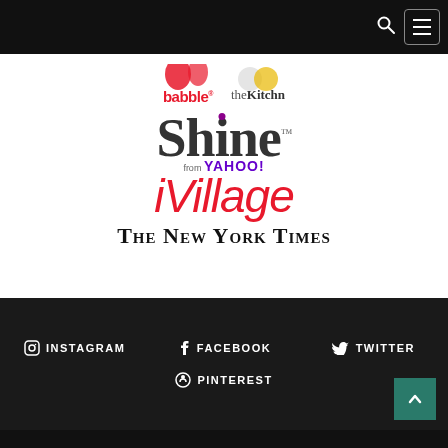[Figure (logo): Navigation bar with search icon and hamburger menu button on dark background]
[Figure (logo): babble logo in red script with partial icon above]
[Figure (logo): theKitchn logo in gray/yellow text]
[Figure (logo): Shine from Yahoo! logo - large serif text with purple dot, Yahoo branding]
[Figure (logo): iVillage logo in red script handwriting style]
[Figure (logo): The New York Times logo in blackletter/Gothic font]
INSTAGRAM  FACEBOOK  TWITTER  PINTEREST